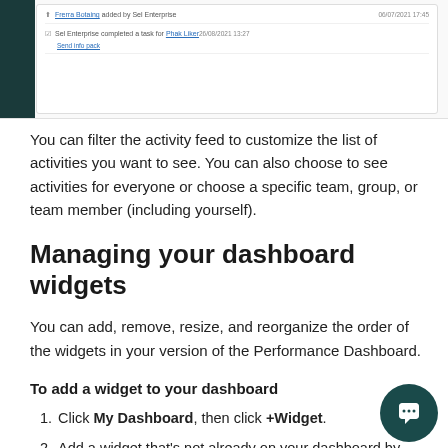[Figure (screenshot): Screenshot of an activity feed showing two log entries: 'Frerra Botaing added by Sel Enterprise' dated 06/07/2021 17:45, and 'Sel Enterprise completed a task for Phak Liker - Send info pack' dated 26/08/2021 13:27]
You can filter the activity feed to customize the list of activities you want to see. You can also choose to see activities for everyone or choose a specific team, group, or team member (including yourself).
Managing your dashboard widgets
You can add, remove, resize, and reorganize the order of the widgets in your version of the Performance Dashboard.
To add a widget to your dashboard
Click My Dashboard, then click +Widget.
Add a widget that's not already on your dashboard by clicking it. The widget is added and automatically saved as an addition to your dashboard.